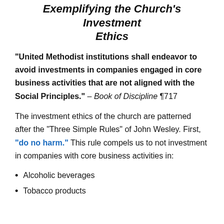Exemplifying the Church's Investment Ethics
“United Methodist institutions shall endeavor to avoid investments in companies engaged in core business activities that are not aligned with the Social Principles.” – Book of Discipline ¶717
The investment ethics of the church are patterned after the “Three Simple Rules” of John Wesley. First, “do no harm.” This rule compels us to not investment in companies with core business activities in:
Alcoholic beverages
Tobacco products